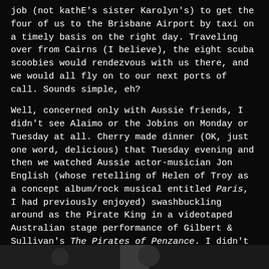job (not kathE's sister Karolyn's) to get the four of us to the Brisbane Airport by taxi on a timely basis on the right day. Traveling over from Cairns (I believe), the eight scuba scoobies would rendezvous with us there, and we would all fly on to our next ports of call. Sounds simple, eh?
Well, concerned only with Aussie friends, I didn't see Alaimo or the Jobins on Monday or Tuesday at all. Cherry made dinner (OK, just one word, delicious) that Tuesday evening and then we watched Aussie actor-musician Jon English (whose retelling of Helen of Troy as a concept album/rock musical entitled Paris, I had previously enjoyed) swashbuckling around as the Pirate King in a videotaped Australian stage performance of Gilbert & Sullivan's The Pirates of Penzance. I didn't return to my hotel till long after midnight so I didn't have an earlier chance to remind my charges of Wednesday's impending flight plans. We were to depart circa 11 a.m. for a 1 p.m. flight so at 9 a.m. I rang Alaimo's hotel room.
[Figure (photo): Partial dark photograph visible at the bottom of the page, showing a dimly lit subject.]